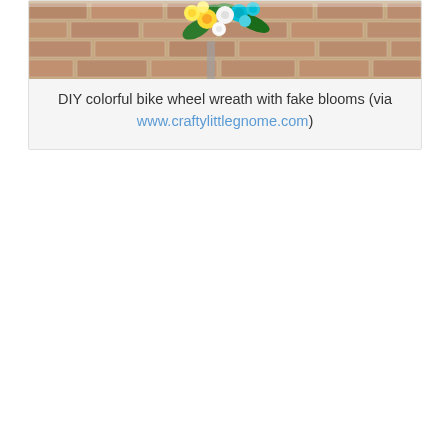[Figure (photo): Photo of a colorful floral arrangement with yellow, white, and teal flowers against a brick wall background]
DIY colorful bike wheel wreath with fake blooms (via www.craftylittlegnome.com)